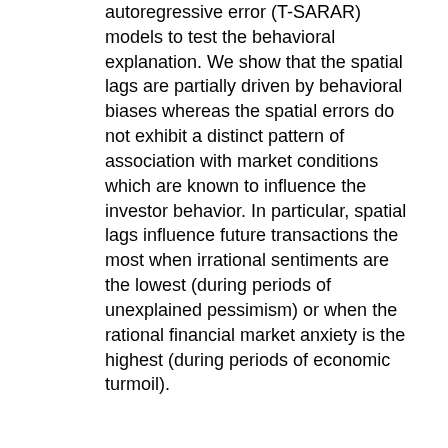autoregressive error (T-SARAR) models to test the behavioral explanation. We show that the spatial lags are partially driven by behavioral biases whereas the spatial errors do not exhibit a distinct pattern of association with market conditions which are known to influence the investor behavior. In particular, spatial lags influence future transactions the most when irrational sentiments are the lowest (during periods of unexplained pessimism) or when the rational financial market anxiety is the highest (during periods of economic turmoil).